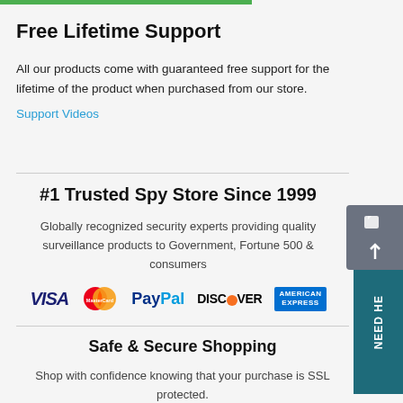Free Lifetime Support
All our products come with guaranteed free support for the lifetime of the product when purchased from our store.
Support Videos
#1 Trusted Spy Store Since 1999
Globally recognized security experts providing quality surveillance products to Government, Fortune 500 & consumers
[Figure (logo): Payment method logos: VISA, MasterCard, PayPal, DISCOVER, AMERICAN EXPRESS]
Safe & Secure Shopping
Shop with confidence knowing that your purchase is SSL protected.